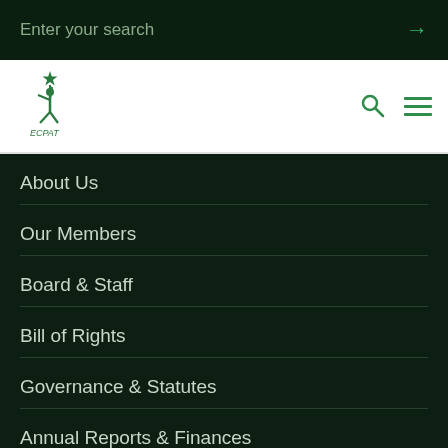Enter your search
[Figure (logo): ECPAT logo — green figure holding a star aloft, with ECPAT text below]
About Us
Our Members
Board & Staff
Bill of Rights
Governance & Statutes
Annual Reports & Finances